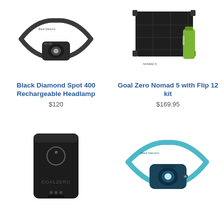[Figure (photo): Black Diamond Spot 400 Rechargeable Headlamp - black headlamp with strap on white background]
Black Diamond Spot 400 Rechargeable Headlamp
$120
[Figure (photo): Goal Zero Nomad 5 solar panel with Flip 12 battery kit - black solar panel with green battery pack on white background]
Goal Zero Nomad 5 with Flip 12 kit
$169.95
[Figure (photo): Goal Zero portable battery pack - black rectangular device with logo on white background]
[Figure (photo): Black Diamond headlamp in blue/teal color with strap on white background]